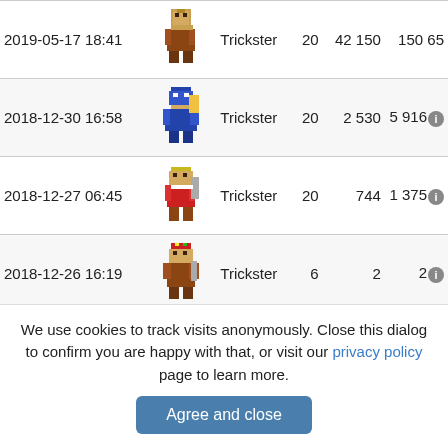| Date | Sprite | Class | Level | Score | Total |
| --- | --- | --- | --- | --- | --- |
| 2019-05-17 18:41 | [sprite] | Trickster | 20 | 42 150 | 150 65 |
| 2018-12-30 16:58 | [sprite] | Trickster | 20 | 2 530 | 5 916 |
| 2018-12-27 06:45 | [sprite] | Trickster | 20 | 744 | 1 375 |
| 2018-12-26 16:19 | [sprite] | Trickster | 6 | 2 | 2 |
| 2018-12-26 16:08 | [sprite] | Trickster | 9 | 5 | 5 |
We use cookies to track visits anonymously. Close this dialog to confirm you are happy with that, or visit our privacy policy page to learn more.